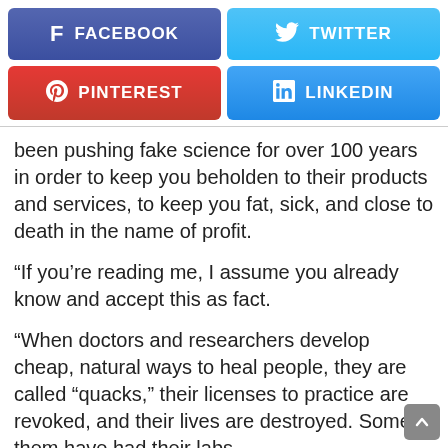[Figure (other): Social media share buttons: Facebook, Twitter, Pinterest, LinkedIn]
been pushing fake science for over 100 years in order to keep you beholden to their products and services, to keep you fat, sick, and close to death in the name of profit.
“If you’re reading me, I assume you already know and accept this as fact.
“When doctors and researchers develop cheap, natural ways to heal people, they are called “quacks,” their licenses to practice are revoked, and their lives are destroyed. Some of them have had their labs